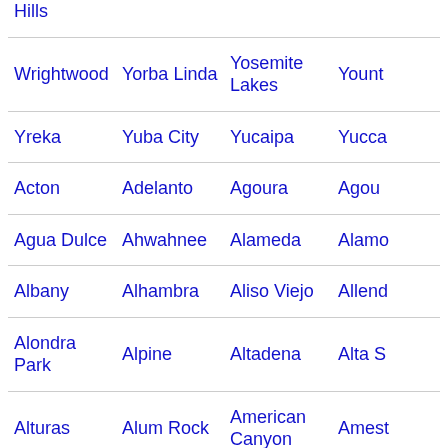Hills
Wrightwood
Yorba Linda
Yosemite Lakes
Yount
Yreka
Yuba City
Yucaipa
Yucca
Acton
Adelanto
Agoura
Agou
Agua Dulce
Ahwahnee
Alameda
Alamo
Albany
Alhambra
Aliso Viejo
Allend
Alondra Park
Alpine
Altadena
Alta S
Alturas
Alum Rock
American Canyon
Amest